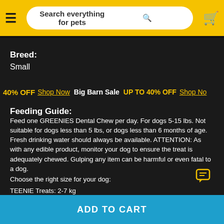Search everything for pets
Breed: Small
40% OFF  Shop Now  Big Barn Sale  UP TO 40% OFF  Shop Now
Feeding Guide:
Feed one GREENIES Dental Chew per day. For dogs 5-15 lbs. Not suitable for dogs less than 5 lbs, or dogs less than 6 months of age. Fresh drinking water should always be available. ATTENTION: As with any edible product, monitor your dog to ensure the treat is adequately chewed. Gulping any item can be harmful or even fatal to a dog.
Choose the right size for your dog:
TEENIE Treats: 2-7 kg
Petite: 7-11 kg
ADD TO CART